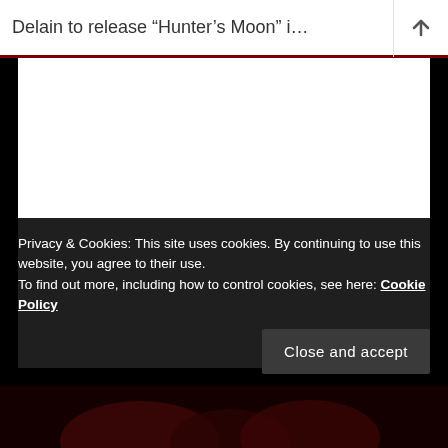Delain to release “Hunter’s Moon” i…
[Figure (other): White content area (advertisement or image placeholder)]
Privacy & Cookies: This site uses cookies. By continuing to use this website, you agree to their use.
To find out more, including how to control cookies, see here: Cookie Policy
Close and accept
[Figure (photo): Dark bottom image area with dark red shapes partially visible]